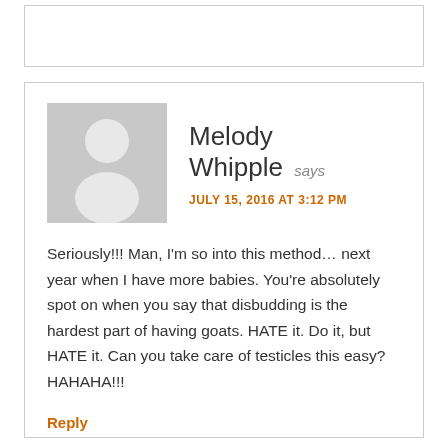[Figure (illustration): Generic gray user avatar placeholder image showing a silhouette of a person (head circle and shoulders) on a gray background]
Melody Whipple says
JULY 15, 2016 AT 3:12 PM
Seriously!!! Man, I'm so into this method… next year when I have more babies. You're absolutely spot on when you say that disbudding is the hardest part of having goats. HATE it. Do it, but HATE it. Can you take care of testicles this easy? HAHAHA!!!
Reply